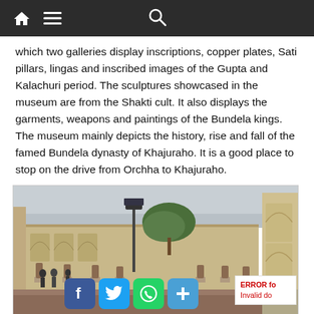Navigation bar with home, menu, and search icons
which two galleries display inscriptions, copper plates, Sati pillars, lingas and inscribed images of the Gupta and Kalachuri period. The sculptures showcased in the museum are from the Shakti cult. It also displays the garments, weapons and paintings of the Bundela kings. The museum mainly depicts the history, rise and fall of the famed Bundela dynasty of Khajuraho. It is a good place to stop on the drive from Orchha to Khajuraho.
[Figure (photo): Outdoor courtyard of a museum showing sculptures on pedestals along a walkway, with a lamp post, trees, and arched building walls. Social media share buttons (Facebook, Twitter, WhatsApp, plus) visible at bottom. Error message partially visible at bottom right.]